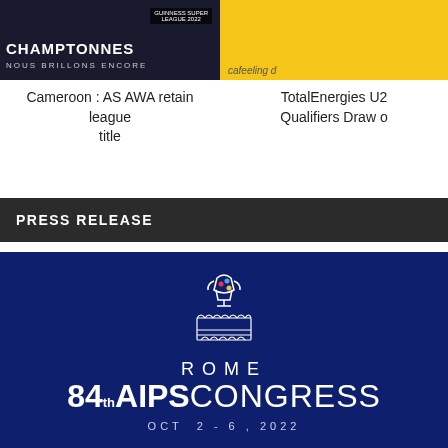[Figure (photo): Sports image showing 'CHAMPTONNES' text with 'NOUS BRILLONS ENCORE' subtitle on dark background]
Cameroon : AS AWA retain league title
[Figure (photo): Yellow background with partial text visible - TotalEnergies U-series Qualifiers Draw]
TotalEnergies U2 Qualifiers Draw o
PRESS RELEASE
[Figure (logo): Rome 84th AIPS Congress logo on dark blue background with Colosseum-inspired emblem. Text reads: ROME, 84th AIPS CONGRESS, OCT 2-6, 2022]